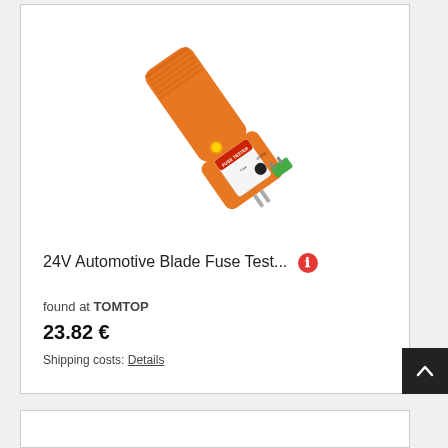[Figure (photo): Orange automotive blade fuse tester tool with LED indicator and green fuse inserted, labeled 'FUSE TESTER Fuse 24 VDC']
24V Automotive Blade Fuse Test...
found at TOMTOP
23.82 €
Shipping costs: Details